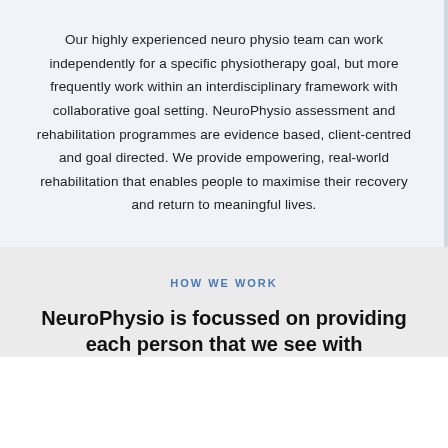Our highly experienced neuro physio team can work independently for a specific physiotherapy goal, but more frequently work within an interdisciplinary framework with collaborative goal setting. NeuroPhysio assessment and rehabilitation programmes are evidence based, client-centred and goal directed. We provide empowering, real-world rehabilitation that enables people to maximise their recovery and return to meaningful lives.
HOW WE WORK
NeuroPhysio is focussed on providing each person that we see with